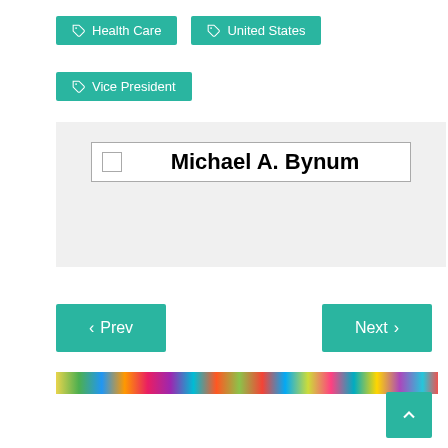Health Care
United States
Vice President
Michael A. Bynum
< Prev
Next >
[Figure (illustration): Colorful decorative strip with multicolored pattern]
Scroll to top button